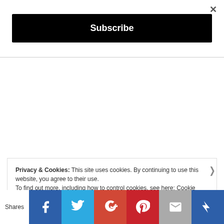×
Subscribe
Privacy & Cookies: This site uses cookies. By continuing to use this website, you agree to their use.
To find out more, including how to control cookies, see here: Cookie Policy
Shares
[Figure (infographic): Social share buttons: Facebook, Twitter, Google+, Pinterest, Email, Crown/bookmark]